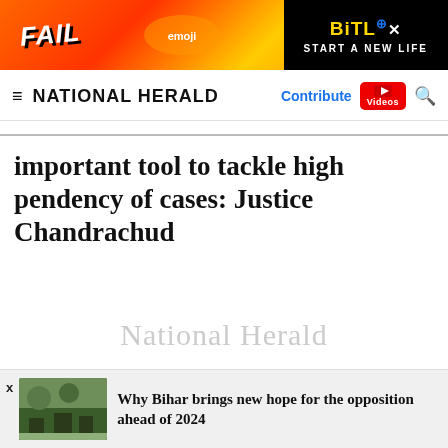[Figure (other): Advertisement banner for BitLife game: orange/red flame background with 'FAIL' text on left and BitLife logo with 'START A NEW LIFE' text on right black panel]
≡ NATIONAL HERALD   Contribute  Videos  🔍
important tool to tackle high pendency of cases: Justice Chandrachud
[Figure (other): Watermark text reading 'National Herald' in light gray]
Why Bihar brings new hope for the opposition ahead of 2024